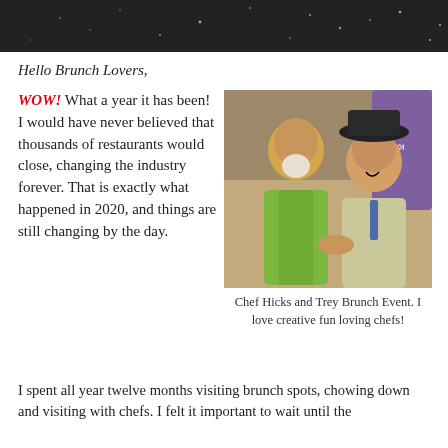[Figure (photo): Dark background image at top of page — appears to be a dark textured surface with light specks]
Hello Brunch Lovers,
WOW! What a year it has been! I would have never believed that thousands of restaurants would close, changing the industry forever. That is exactly what happened in 2020, and things are still changing by the day.
[Figure (photo): Two men laughing and shaking hands — one in a green jacket with a white beard, one in a cowboy hat and light jacket]
Chef Hicks and Trey Brunch Event. I love creative fun loving chefs!
I spent all year twelve months visiting brunch spots, chowing down and visiting with chefs. I felt it important to wait until the